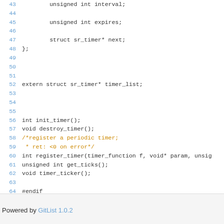Code snippet lines 43-65 showing C header file with unsigned int interval, unsigned int expires, struct sr_timer* next, }; extern struct sr_timer* timer_list; int init_timer(); void destroy_timer(); /*register a periodic timer; * ret: <0 on error*/ int register_timer(timer_function f, void* param, unsig unsigned int get_ticks(); void timer_ticker(); #endif
Powered by GitList 1.0.2